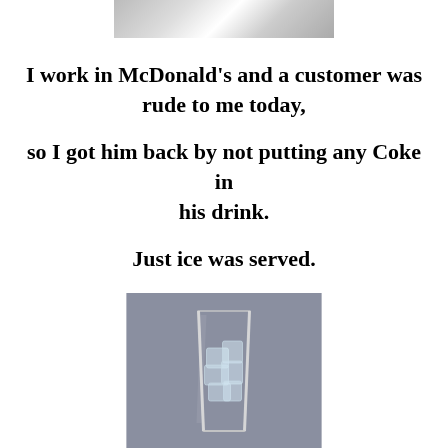[Figure (photo): Partial photo at top of page, cropped, appears to show people in uniforms]
I work in McDonald’s and a customer was rude to me today,

so I got him back by not putting any Coke in his drink.

Just ice was served.
[Figure (photo): Photo of a glass filled with ice cubes on a gray background]